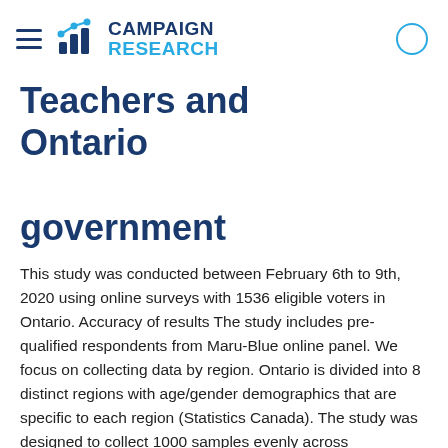Campaign Research
Teachers and Ontario government
This study was conducted between February 6th to 9th, 2020 using online surveys with 1536 eligible voters in Ontario. Accuracy of results The study includes pre-qualified respondents from Maru-Blue online panel. We focus on collecting data by region. Ontario is divided into 8 distinct regions with age/gender demographics that are specific to each region (Statistics Canada). The study was designed to collect 1000 samples evenly across